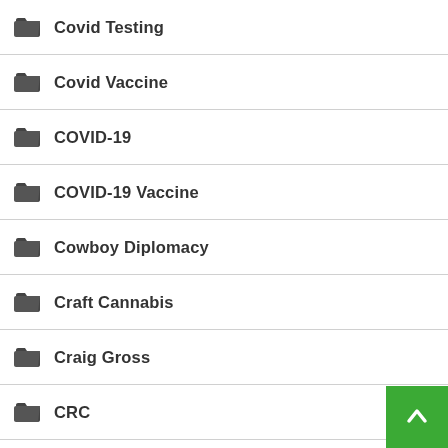Covid Testing
Covid Vaccine
COVID-19
COVID-19 Vaccine
Cowboy Diplomacy
Craft Cannabis
Craig Gross
CRC
Cream
Cream Of The Crop Gardens
Creator Economy
Cresco
Crime Prevention